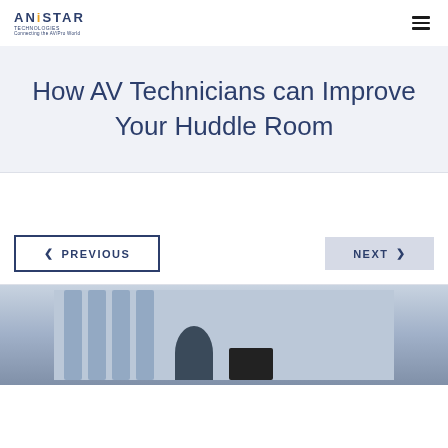ANISTAR TECHNOLOGIES - Connecting the AV/Pro World
How AV Technicians can Improve Your Huddle Room
PREVIOUS | NEXT
[Figure (photo): Photo of a huddle room with people and AV equipment, windows in background]